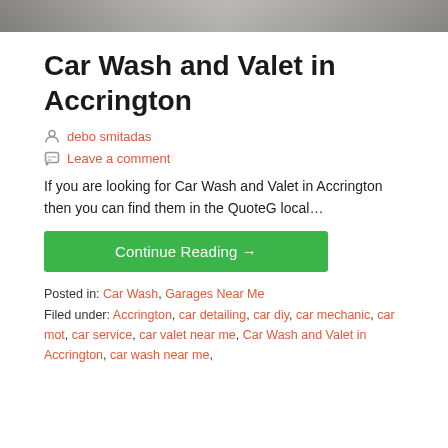[Figure (photo): Partial image strip at top of page, showing a blurred photo (appears to be a car wash or similar scene)]
Car Wash and Valet in Accrington
debo smitadas
Leave a comment
If you are looking for Car Wash and Valet in Accrington then you can find them in the QuoteG local…
Continue Reading →
Posted in: Car Wash, Garages Near Me
Filed under: Accrington, car detailing, car diy, car mechanic, car mot, car service, car valet near me, Car Wash and Valet in Accrington, car wash near me,